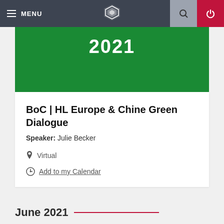MENU
2021
BoC | HL Europe & Chine Green Dialogue
Speaker: Julie Becker
Virtual
Add to my Calendar
June 2021